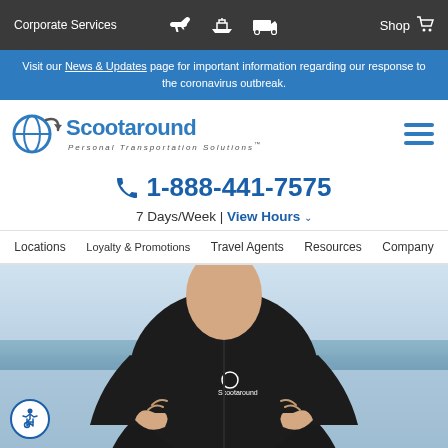Corporate Services | Shop
Visit our News & Updates page for important information regarding our response to the coronavirus outbreak.
[Figure (logo): Scootaround Personal Transportation Solutions logo with circular globe icon]
1-888-441-7575
7 Days/Week | View Hours
Locations | Loyalty & Promotions | Travel Agents | Resources | Company
[Figure (photo): Person wearing a black Scootaround branded hoodie making hand gestures, standing in front of a cruise ship or ocean backdrop]